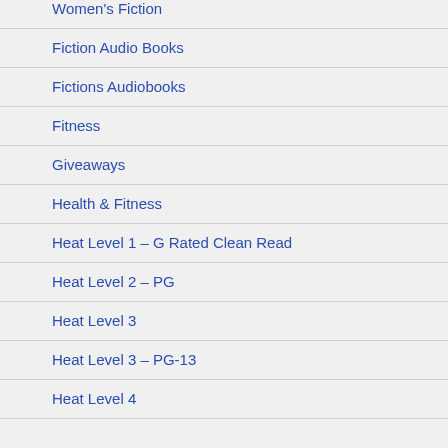Women's Fiction
Fiction Audio Books
Fictions Audiobooks
Fitness
Giveaways
Health & Fitness
Heat Level 1 – G Rated Clean Read
Heat Level 2 – PG
Heat Level 3
Heat Level 3 – PG-13
Heat Level 4